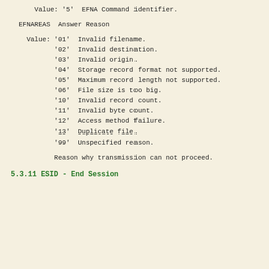Value: '5'  EFNA Command identifier.
EFNAREAS  Answer Reason
Value: '01'  Invalid filename.
'02'  Invalid destination.
'03'  Invalid origin.
'04'  Storage record format not supported.
'05'  Maximum record length not supported.
'06'  File size is too big.
'10'  Invalid record count.
'11'  Invalid byte count.
'12'  Access method failure.
'13'  Duplicate file.
'99'  Unspecified reason.
Reason why transmission can not proceed.
5.3.11  ESID - End Session